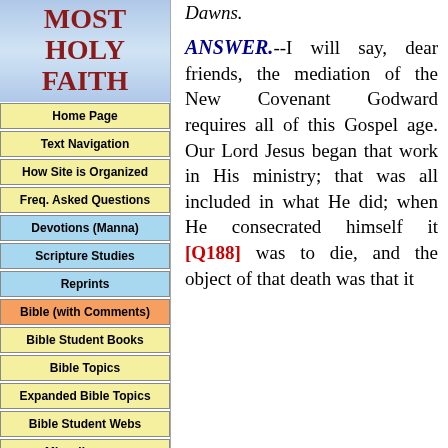MOST HOLY FAITH
Home Page
Text Navigation
How Site is Organized
Freq. Asked Questions
Devotions (Manna)
Scripture Studies
Reprints
Bible (with Comments)
Bible Student Books
Bible Topics
Expanded Bible Topics
Bible Student Webs
Miscellaneous
Dawns. ANSWER.--I will say, dear friends, the mediation of the New Covenant Godward requires all of this Gospel age. Our Lord Jesus began that work in His ministry; that was all included in what He did; when He consecrated himself it [Q188] was to die, and the object of that death was that it